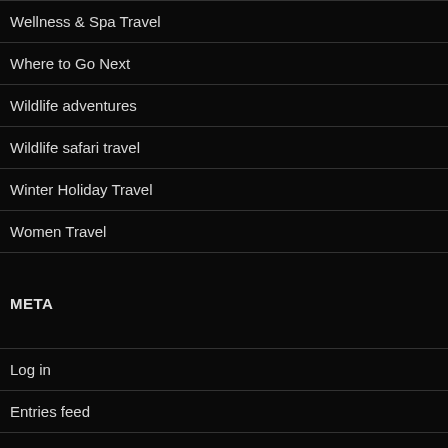Wellness & Spa Travel
Where to Go Next
Wildlife adventures
Wildlife safari travel
Winter Holiday Travel
Women Travel
META
Log in
Entries feed
Comments feed
WordPress.org